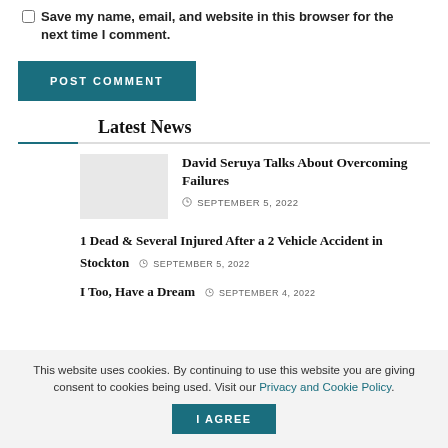Save my name, email, and website in this browser for the next time I comment.
POST COMMENT
Latest News
[Figure (photo): Thumbnail image placeholder (light gray rectangle)]
David Seruya Talks About Overcoming Failures
SEPTEMBER 5, 2022
1 Dead & Several Injured After a 2 Vehicle Accident in Stockton  SEPTEMBER 5, 2022
I Too, Have a Dream  SEPTEMBER 4, 2022
This website uses cookies. By continuing to use this website you are giving consent to cookies being used. Visit our Privacy and Cookie Policy.
I Agree